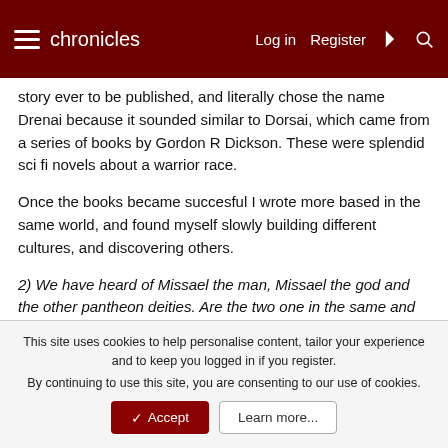chronicles  Log in  Register
story ever to be published, and literally chose the name Drenai because it sounded similar to Dorsai, which came from a series of books by Gordon R Dickson. These were splendid sci fi novels about a warrior race.
Once the books became succesful I wrote more based in the same world, and found myself slowly building different cultures, and discovering others.
2) We have heard of Missael the man, Missael the god and the other pantheon deities. Are the two one in the same and how did the world come to change from the ancient pantheon to the source and are the demons also ancient humans or are they part of the Illohir?
This site uses cookies to help personalise content, tailor your experience and to keep you logged in if you register.
By continuing to use this site, you are consenting to our use of cookies.